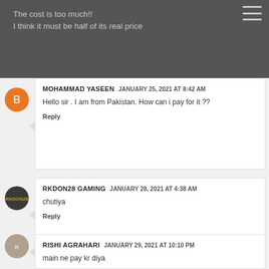The cost is too much!!
I think it must be half of its real price
Reply
MOHAMMAD YASEEN  JANUARY 25, 2021 AT 8:42 AM
Hello sir . I am from Pakistan. How can i pay for it ??
Reply
RKDON28 GAMING  JANUARY 28, 2021 AT 4:38 AM
chutiya
Reply
RISHI AGRAHARI  JANUARY 29, 2021 AT 10:10 PM
main ne pay kr diya